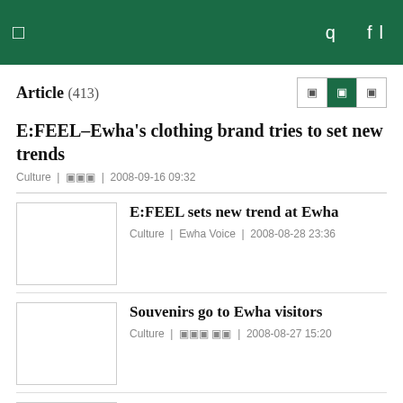☰   q  fl
Article (413)
E:FEEL–Ewha's clothing brand tries to set new trends
Culture | ▣▣▣ | 2008-09-16 09:32
E:FEEL sets new trend at Ewha
Culture | Ewha Voice | 2008-08-28 23:36
Souvenirs go to Ewha visitors
Culture | ▣▣▣ ▣▣ | 2008-08-27 15:20
Renewed campus greets